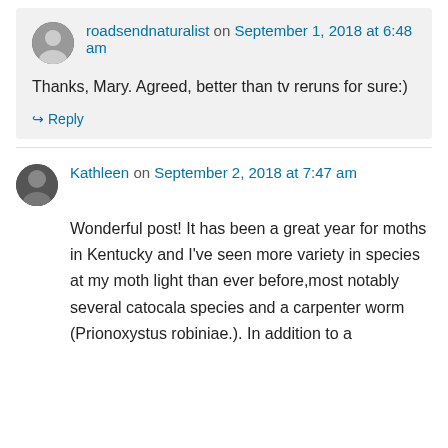roadsendnaturalist on September 1, 2018 at 6:48 am
Thanks, Mary. Agreed, better than tv reruns for sure:)
↳ Reply
Kathleen on September 2, 2018 at 7:47 am
Wonderful post! It has been a great year for moths in Kentucky and I've seen more variety in species at my moth light than ever before,most notably several catocala species and a carpenter worm (Prionoxystus robiniae.). In addition to a